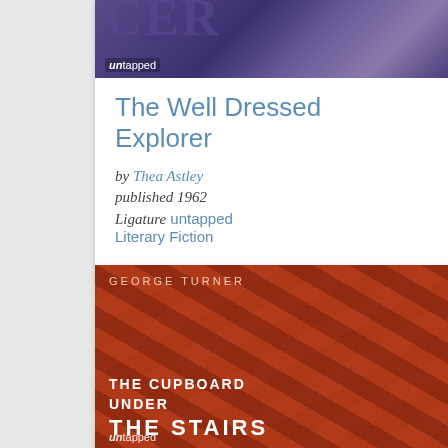[Figure (photo): Book cover for The Well Dressed Explorer with purple/dark text letterpress background and untapped logo]
The Well Dressed Explorer
by Thea Astley
published 1962
Ligature untapped Literary Fiction
[Figure (photo): Book cover for The Cupboard Under the Stairs by George Turner, red/dark letterpress background with white text and untapped logo]